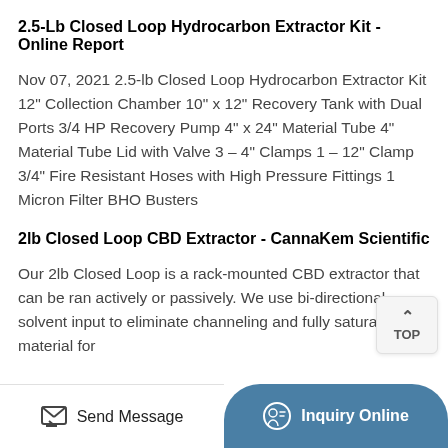2.5-Lb Closed Loop Hydrocarbon Extractor Kit - Online Report
Nov 07, 2021 2.5-lb Closed Loop Hydrocarbon Extractor Kit 12" Collection Chamber 10" x 12" Recovery Tank with Dual Ports 3/4 HP Recovery Pump 4" x 24" Material Tube 4" Material Tube Lid with Valve 3 – 4" Clamps 1 – 12" Clamp 3/4" Fire Resistant Hoses with High Pressure Fittings 1 Micron Filter BHO Busters
2lb Closed Loop CBD Extractor - CannaKem Scientific
Our 2lb Closed Loop is a rack-mounted CBD extractor that can be ran actively or passively. We use bi-directional solvent input to eliminate channeling and fully saturate material for
Send Message | Inquiry Online